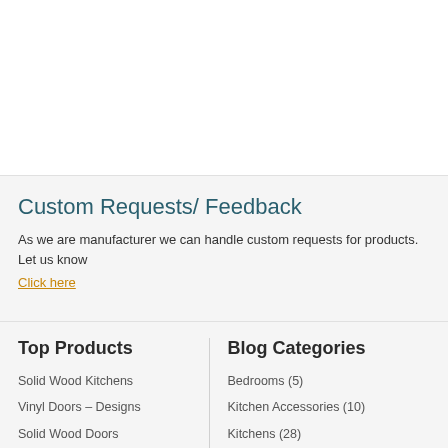Custom Requests/ Feedback
As we are manufacturer we can handle custom requests for products. Let us know Click here
Top Products
Solid Wood Kitchens
Vinyl Doors – Designs
Solid Wood Doors
Wardrobe Doors
Kitchen Accessories
Blog Categories
Bedrooms (5)
Kitchen Accessories (10)
Kitchens (28)
News (25)
Special Offers (2)
Trade Tips (7)